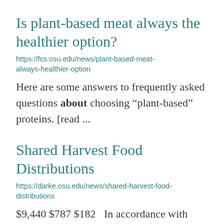Is plant-based meat always the healthier option?
https://fcs.osu.edu/news/plant-based-meat-always-healthier-option
Here are some answers to frequently asked questions about choosing “plant-based” proteins. [read ...
Shared Harvest Food Distributions
https://darke.osu.edu/news/shared-harvest-food-distributions
$9,440 $787 $182   In accordance with federal civil rights law and U.S. Department of Agriculture (USDA) ...